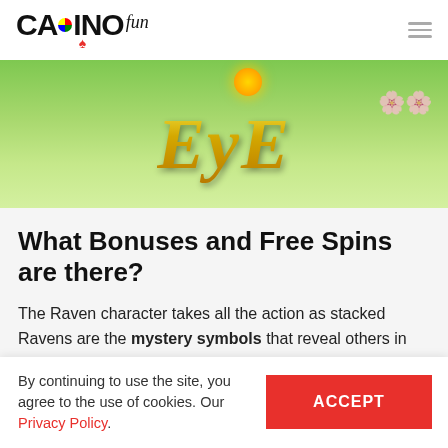CASINOfun
[Figure (screenshot): Game banner image showing golden stylized 'Eye' text on a green nature background with a sun and flowers]
What Bonuses and Free Spins are there?
The Raven character takes all the action as stacked Ravens are the mystery symbols that reveal others in their place, including the Wild. The blackbird symbols can transform into matching symbols whenever they
By continuing to use the site, you agree to the use of cookies. Our Privacy Policy.